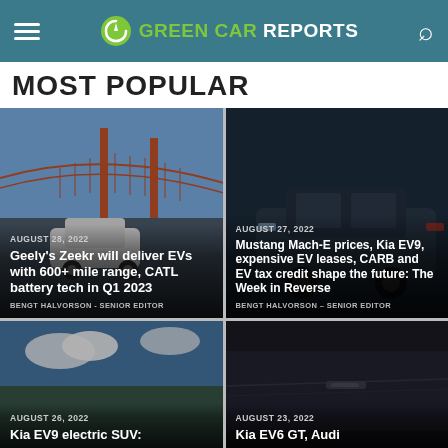Green Car Reports
MOST POPULAR
[Figure (screenshot): Article card 1: Photo of white vehicle near Golden Gate Bridge. Date: August 28, 2022. Title: Geely's Zeekr will deliver EVs with 600+ mile range, CATL battery tech in Q1 2023. Author: Bengt Halvorson - Senior Editor]
[Figure (screenshot): Article card 2: Photo of dark EV vehicle. Date: August 27, 2022. Title: Mustang Mach-E prices, Kia EV9, expensive EV leases, CARB and EV tax credit shape the future: The Week in Reverse. Author: Bengt Halvorson - Senior Editor]
[Figure (screenshot): Article card 3: Photo with sky background. Date: August 26, 2022. Title: Kia EV9 electric SUV:]
[Figure (screenshot): Article card 4: Photo of dark vehicle. Date: August 23, 2022. Title: Kia EV6 GT, Audi]
Advertisement: Ashburn OPEN 8AM-8PM 44110 Ashburn Shopping Plaza ...